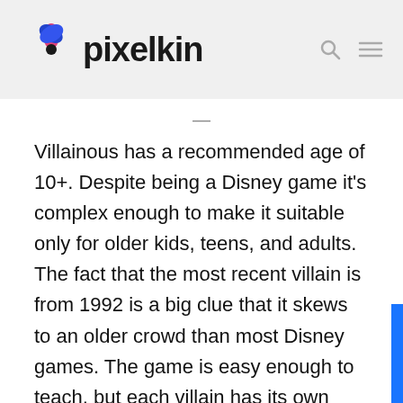pixelkin
Villainous has a recommended age of 10+. Despite being a Disney game it's complex enough to make it suitable only for older kids, teens, and adults. The fact that the most recent villain is from 1992 is a big clue that it skews to an older crowd than most Disney games. The game is easy enough to teach, but each villain has its own rules to learn and strategies to employ, and you have to pay close attention to what your opponents are doing.